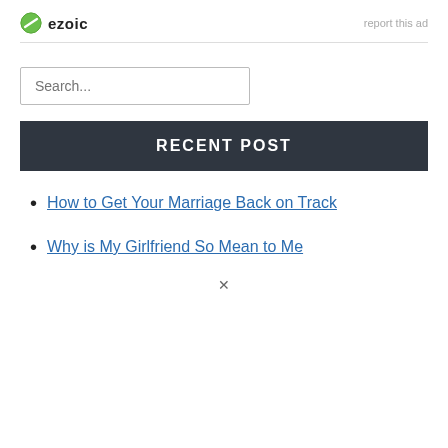[Figure (logo): Ezoic logo with green circle icon and bold 'ezoic' text, with 'report this ad' link on the right]
Search...
RECENT POST
How to Get Your Marriage Back on Track
Why is My Girlfriend So Mean to Me